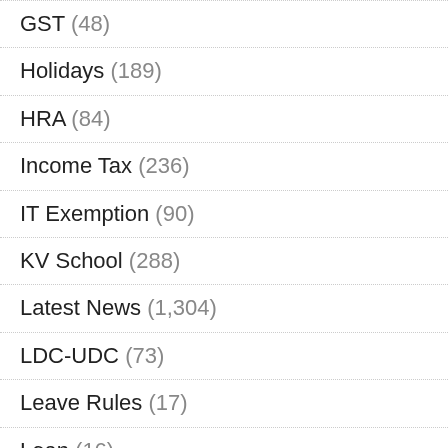GST (48)
Holidays (189)
HRA (84)
Income Tax (236)
IT Exemption (90)
KV School (288)
Latest News (1,304)
LDC-UDC (73)
Leave Rules (17)
Loan (16)
Lok Sabha Elections 2019 (15)
LTC (289)